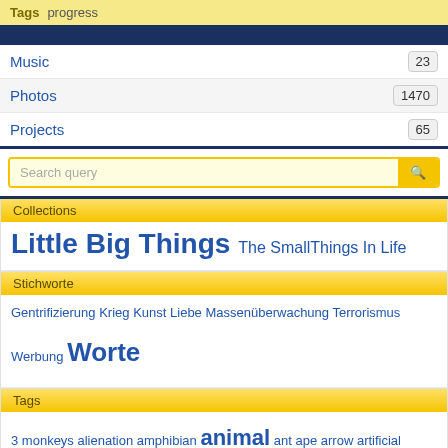Tags  progress
Music 23
Photos 1470
Projects 65
Search query
Collections
Little Big Things  The SmallThings In Life
Stichworte
Gentrifizierung Krieg Kunst Liebe Massenüberwachung Terrorismus Werbung Worte
Tags
3 monkeys alienation amphibian animal ant ape arrow artificial intelligence automatization ball barbed wire barley beach bee beer bicycle bird brick wall bridge browsers bubble butterfly cable car cat caterpillar CCTV chain link fence chair chalk church cigarette clouds consumerism cross crow dandelion dawn dog dolphin door dragonfly